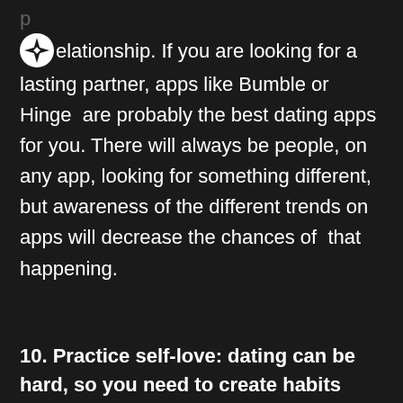relationship. If you are looking for a lasting partner, apps like Bumble or Hinge are probably the best dating apps for you. There will always be people, on any app, looking for something different, but awareness of the different trends on apps will decrease the chances of that happening.
10. Practice self-love: dating can be hard, so you need to create habits